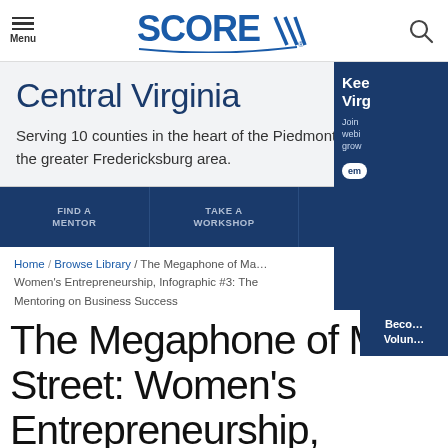SCORE — Menu / Search
Central Virginia
Serving 10 counties in the heart of the Piedmont and the greater Fredericksburg area.
FIND A MENTOR | TAKE A WORKSHOP | BROWSE THE LIBRARY
Home / Browse Library / The Megaphone of Ma... Women's Entrepreneurship, Infographic #3: The Mentoring on Business Success
The Megaphone of Ma Street: Women's Entrepreneurship, Infographic #3: The